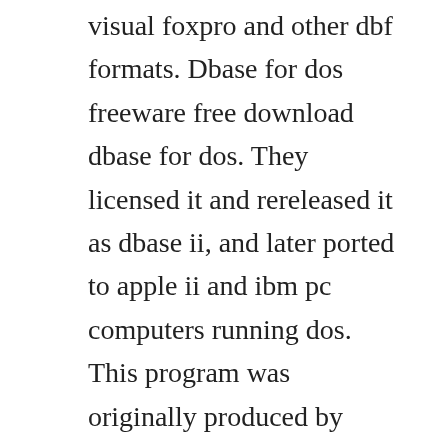visual foxpro and other dbf formats. Dbase for dos freeware free download dbase for dos. They licensed it and rereleased it as dbase ii, and later ported to apple ii and ibm pc computers running dos. This program was originally produced by dbase, llc. The wealth of highly sophisticated features includes comprehensive support for data structure modification.
Ms dos software free download ms dos top 4 download. Free dbase 3 plus free download download dbase 3 plus free. The download files include download instructions. It